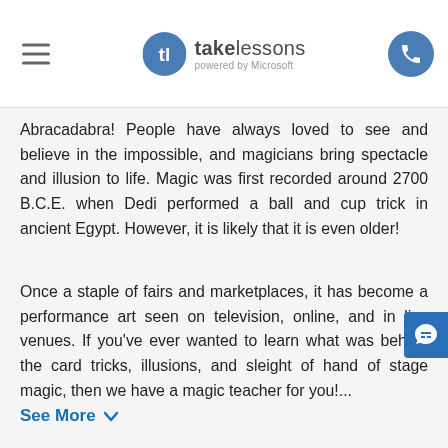takelessons powered by Microsoft
Abracadabra! People have always loved to see and believe in the impossible, and magicians bring spectacle and illusion to life. Magic was first recorded around 2700 B.C.E. when Dedi performed a ball and cup trick in ancient Egypt. However, it is likely that it is even older!
Once a staple of fairs and marketplaces, it has become a performance art seen on television, online, and in live venues. If you've ever wanted to learn what was behind the card tricks, illusions, and sleight of hand of stage magic, then we have a magic teacher for you!...
See More